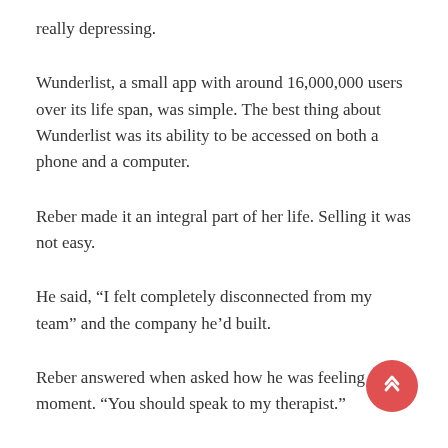really depressing.
Wunderlist, a small app with around 16,000,000 users over its life span, was simple. The best thing about Wunderlist was its ability to be accessed on both a phone and a computer.
Reber made it an integral part of her life. Selling it was not easy.
He said, “I felt completely disconnected from my team” and the company he’d built.
Reber answered when asked how he was feeling at the moment. “You should speak to my therapist.”